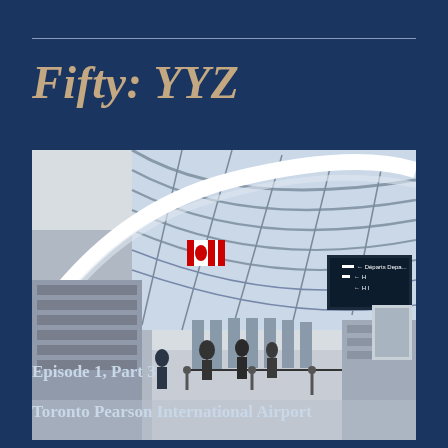Fifty: YYZ
[Figure (photo): Interior of Toronto Pearson International Airport terminal showing check-in counters, passengers, a Canadian flag, and a large glass vaulted roof structure with steel arches. Departure signs visible on the right.]
Episode 1, Part 3
Toronto Pearson International Airport